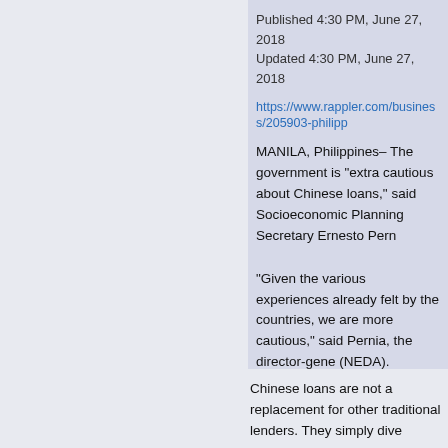Published 4:30 PM, June 27, 2018
Updated 4:30 PM, June 27, 2018
https://www.rappler.com/business/205903-philipp
MANILA, Philippines– The government is "extra cautious about Chinese loans," said Socioeconomic Planning Secretary Ernesto Pern
"Given the various experiences already felt by the countries, we are more cautious," said Pernia, the director-general of (NEDA).
The socioeconomic planning chief was reacting to reports that Sri Lanka was taken over by China because the form
Sri Lanka pushed through with the $1-billion proj work.
< Edited >
Pernia said only one China-funded infrastructure
Beijing has loaned the Philippine government P3 project drew flak since the loan carried an intere Locals protest Duterte admin's Chico River proje
< Edited >
Chinese loans are not a replacement for other traditional lenders. They simply dive